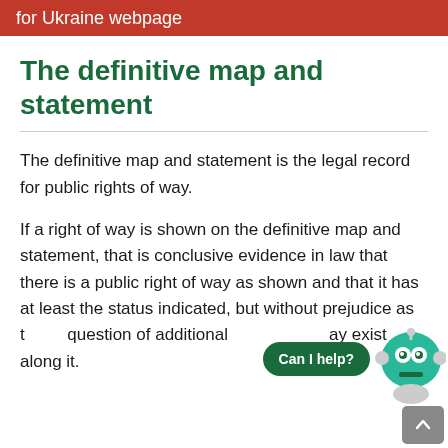for Ukraine webpage
The definitive map and statement
The definitive map and statement is the legal record for public rights of way.
If a right of way is shown on the definitive map and statement, that is conclusive evidence in law that there is a public right of way as shown and that it has at least the status indicated, but without prejudice as to the question of additional rights that may exist along it.
[Figure (other): Chatbot overlay widget with 'Can I help?' button, robot icon, and scroll-to-top button]